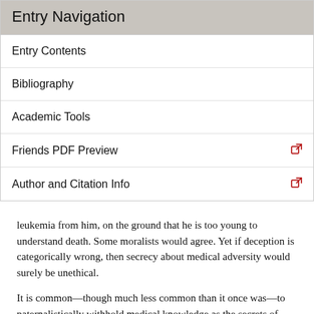Entry Navigation
Entry Contents
Bibliography
Academic Tools
Friends PDF Preview
Author and Citation Info
leukemia from him, on the ground that he is too young to understand death. Some moralists would agree. Yet if deception is categorically wrong, then secrecy about medical adversity would surely be unethical.
It is common—though much less common than it once was—to paternalistically withhold medical knowledge as the secrets of doctors, healthy spouses and adult children. But there is no guarantee that patients will believe medical truths or diagnoses squarely placed before them by qualified physicians. Denial of unpleasant truths is commonplace. Self-deception is a powerful phenomenon.